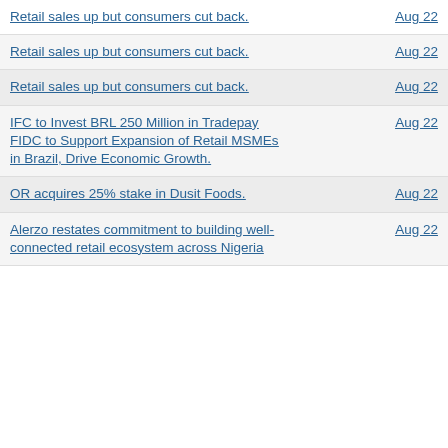Retail sales up but consumers cut back. | Aug 22
Retail sales up but consumers cut back. | Aug 22
Retail sales up but consumers cut back. | Aug 22
IFC to Invest BRL 250 Million in Tradepay FIDC to Support Expansion of Retail MSMEs in Brazil, Drive Economic Growth. | Aug 22
OR acquires 25% stake in Dusit Foods. | Aug 22
Alerzo restates commitment to building well-connected retail ecosystem across Nigeria | Aug 22